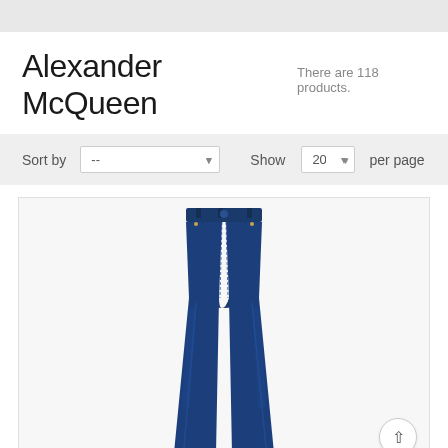Alexander McQueen There are 118 products.
Sort by  --   Show  20  per page
[Figure (photo): Dark navy blue flared/bootcut jeans from Alexander McQueen, shown full length on a white background]
ALEXANDER MCQUEEN